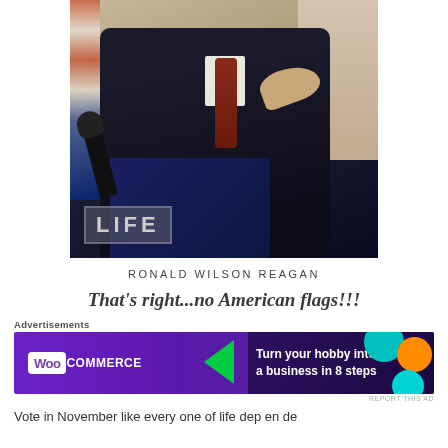[Figure (photo): Black and white/color photo of Ronald Wilson Reagan at a podium with microphones, pointing his finger, wearing a dark suit and red tie. LIFE magazine watermark in lower left corner.]
RONALD WILSON REAGAN
That's right...no American flags!!!
Advertisements
[Figure (infographic): WooCommerce advertisement banner: purple background with text 'Turn your hobby into a business in 8 steps']
REPORT THIS AD
Vote in November like every one of life dep en de